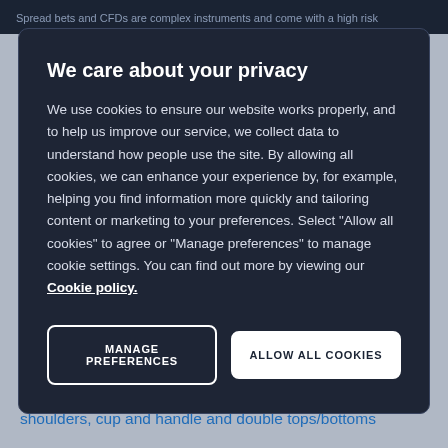Spread bets and CFDs are complex instruments and come with a high risk
We care about your privacy
We use cookies to ensure our website works properly, and to help us improve our service, we collect data to understand how people use the site. By allowing all cookies, we can enhance your experience by, for example, helping you find information more quickly and tailoring content or marketing to your preferences. Select “Allow all cookies” to agree or “Manage preferences” to manage cookie settings. You can find out more by viewing our Cookie policy.
MANAGE PREFERENCES
ALLOW ALL COOKIES
confidence at the outset, these are formations that arise and track the changes in support and resistance. There are also more complex trading patterns such as head and shoulders, cup and handle and double tops/bottoms